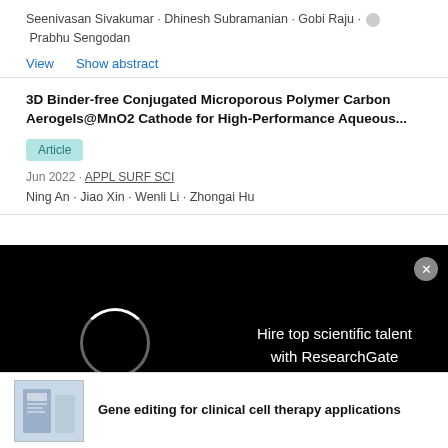Seenivasan Sivakumar · Dhinesh Subramanian · Gobi Raju · Prabhu Sengodan
View   Show abstract
3D Binder-free Conjugated Microporous Polymer Carbon Aerogels@MnO2 Cathode for High-Performance Aqueous...
Article
Jun 2022 · APPL SURF SCI
Ning An · Jiao Xin · Wenli Li · Zhongai Hu
Hire top scientific talent with ResearchGate
Gene editing for clinical cell therapy applications